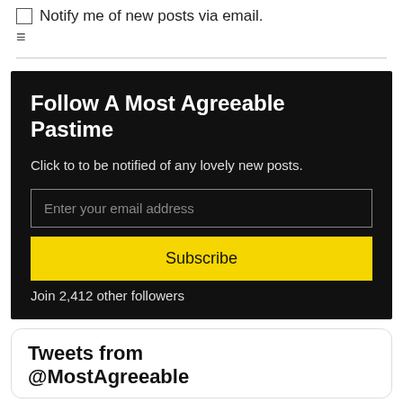Notify me of new posts via email.
Follow A Most Agreeable Pastime
Click to to be notified of any lovely new posts.
Enter your email address
Subscribe
Join 2,412 other followers
Tweets from @MostAgreeable